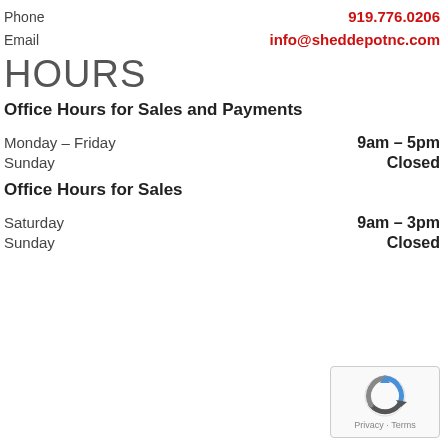Phone   919.776.0206
Email   info@sheddepotnc.com
HOURS
Office Hours for Sales and Payments
Monday – Friday   9am – 5pm
Sunday   Closed
Office Hours for Sales
Saturday   9am – 3pm
Sunday   Closed
[Figure (logo): reCAPTCHA badge with Privacy and Terms text]